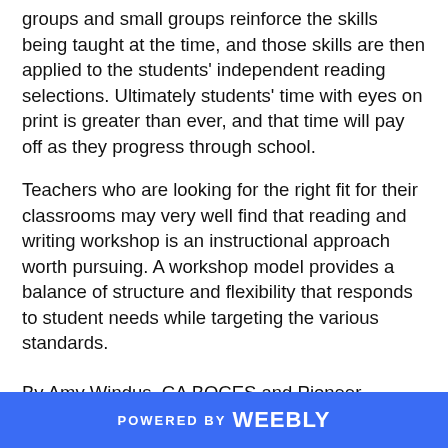groups and small groups reinforce the skills being taught at the time, and those skills are then applied to the students' independent reading selections. Ultimately students' time with eyes on print is greater than ever, and that time will pay off as they progress through school.
Teachers who are looking for the right fit for their classrooms may very well find that reading and writing workshop is an instructional approach worth pursuing. A workshop model provides a balance of structure and flexibility that responds to student needs while targeting the various standards.
By Amy Windus, CA BOCES and Pioneer Central School
POWERED BY weebly